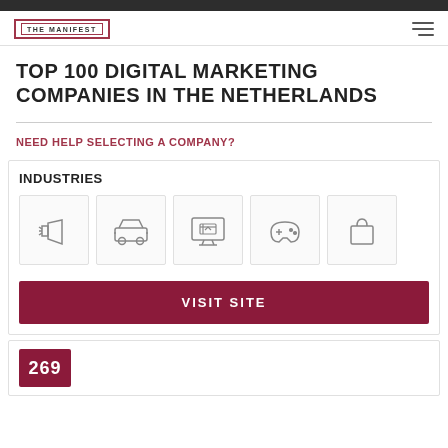THE MANIFEST
TOP 100 DIGITAL MARKETING COMPANIES IN THE NETHERLANDS
NEED HELP SELECTING A COMPANY?
INDUSTRIES
[Figure (infographic): Five industry icons in boxes: megaphone/advertising, car/automotive, shopping cart on monitor/ecommerce, game controller/gaming, shopping bag/retail]
VISIT SITE
269